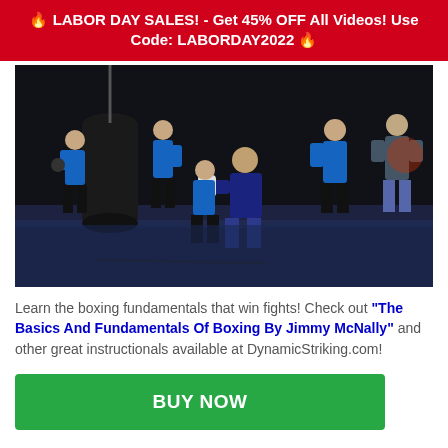🔥 LABOR DAY SALES! - Get 45% OFF All Videos! Use Code: LABORDAY2022 🔥
[Figure (photo): Boxing gym scene with multiple people sparring and training. Several people in blue athletic wear and a coach in a dark blue shirt in the center demonstrating a boxing technique. Heavy bags visible in background.]
Learn the boxing fundamentals that win fights! Check out "The Basics And Fundamentals Of Boxing By Jimmy McNally" and other great instructionals available at DynamicStriking.com!
BUY NOW